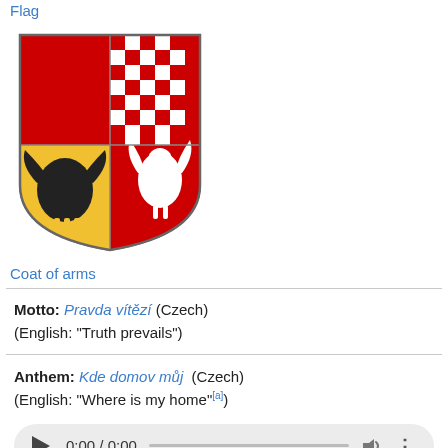Flag
[Figure (illustration): Coat of arms of Czech Republic - four quadrant heraldic shield with red/white lion, checkered pattern, yellow/black eagle, and red/white lion]
Coat of arms
Motto: Pravda vítězí (Czech)
(English: "Truth prevails")
Anthem: Kde domov můj (Czech)
(English: "Where is my home"[a])
[Figure (other): Audio player showing 0:00 / 0:00]
[Figure (map): Map showing Czech Republic location in Europe with world inset]